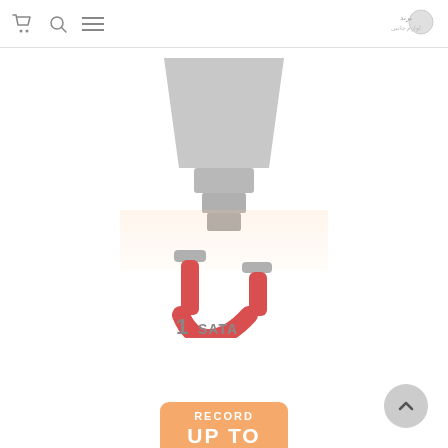cart | search | menu | logo
[Figure (photo): MR16 LED bulb shape shown from front — trapezoidal reflector body with stepped base/connector, gray silhouette on white background]
[Figure (illustration): U-shaped magnet icon in pink/red with gray caps on each pole, with text '1 SATA' below indicating one SATA connection]
[Figure (illustration): Orange/peach rounded rectangle box with white bold text reading 'RECORD' on first line and 'UP TO' on second line (partially cropped at bottom)]